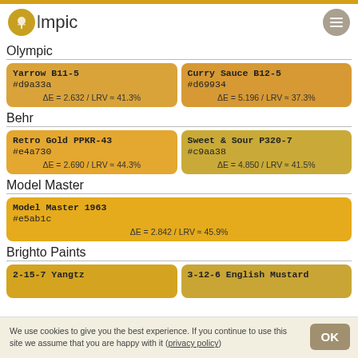Olympic
Olympic
| Color Name / Hex | Color Name / Hex |
| --- | --- |
| Yarrow B11-5
#d9a33a
ΔE = 2.632 / LRV ≈ 41.3% | Curry Sauce B12-5
#d69934
ΔE = 5.196 / LRV ≈ 37.3% |
Behr
| Color Name / Hex | Color Name / Hex |
| --- | --- |
| Retro Gold PPKR-43
#e4a730
ΔE = 2.690 / LRV ≈ 44.3% | Sweet & Sour P320-7
#c9aa38
ΔE = 4.850 / LRV ≈ 41.5% |
Model Master
| Color Name / Hex |
| --- |
| Model Master 1963
#e5ab1c
ΔE = 2.842 / LRV ≈ 45.9% |
Brighto Paints
| Color Name / Hex | Color Name / Hex |
| --- | --- |
| 2-15-7 Yangtz | 3-12-6 English Mustard |
We use cookies to give you the best experience. If you continue to use this site we assume that you are happy with it (privacy policy)